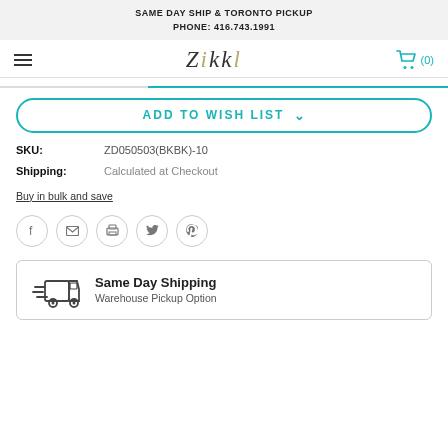SAME DAY SHIP & TORONTO PICKUP
PHONE: 416.743.1991
[Figure (logo): Zikkl logo with stylized lettering and shopping cart icon showing (0) items]
ADD TO WISH LIST
SKU: ZD050503(BKBK)-10
Shipping: Calculated at Checkout
Buy in bulk and save
[Figure (infographic): Social share icons: Facebook, Email, Print, Twitter, Pinterest]
[Figure (infographic): Same Day Shipping box with delivery truck icon, text: Same Day Shipping, Warehouse Pickup Option]